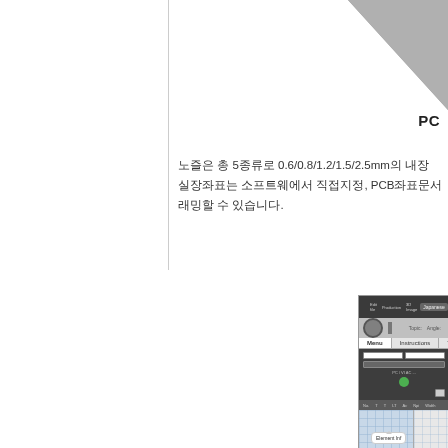[Figure (illustration): Gray decorative diagonal shape in top-right corner]
PC
노즐은 총 5종류로 0.6/0.8/1.2/1.5/2.5mm의 내장 실장좌표는 소프트웨에서 직접지정, PCB좌표문서 래밍할 수 있습니다.
[Figure (screenshot): Software UI screenshot showing a PCB design application with menu bar, toolbar with Menu/Instructions/Tab buttons, form input area with green icon, data table header row, main canvas area with grid and Element Info callout bubble, and Prompt area Status information callout at bottom]